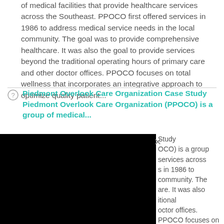of medical facilities that provide healthcare services across the Southeast. PPOCO first offered services in 1986 to address medical service needs in the local community. The goal was to provide comprehensive healthcare. It was also the goal to provide services beyond the traditional operating hours of primary care and other doctor offices. PPOCO focuses on total wellness that incorporates an integrative approach to optimize quality patient...
Piedmont Overlook Care Organization Case Study Piedmont Overlook Care Organization (PPOCO) is a group of medical...
[Figure (screenshot): A popup/modal overlay showing a black video player panel on the left and truncated text content on the right with a close (×) button at the top right of the black panel.]